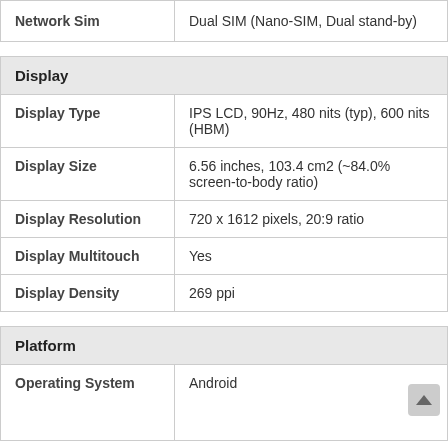|  |  |
| --- | --- |
| Network Sim | Dual SIM (Nano-SIM, Dual stand-by) |
| Display |  |
| --- | --- |
| Display Type | IPS LCD, 90Hz, 480 nits (typ), 600 nits (HBM) |
| Display Size | 6.56 inches, 103.4 cm2 (~84.0% screen-to-body ratio) |
| Display Resolution | 720 x 1612 pixels, 20:9 ratio |
| Display Multitouch | Yes |
| Display Density | 269 ppi |
| Platform |  |
| --- | --- |
| Operating System | Android |